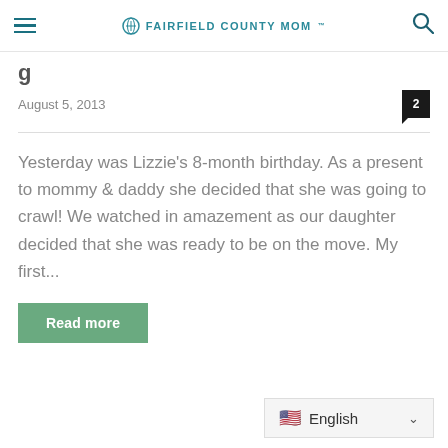FAIRFIELD COUNTY MOM
August 5, 2013
Yesterday was Lizzie's 8-month birthday. As a present to mommy & daddy she decided that she was going to crawl! We watched in amazement as our daughter decided that she was ready to be on the move. My first...
Read more
English